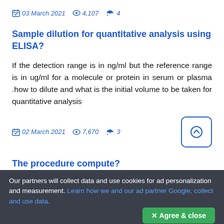03 March 2021  4,107  4
Sample dilution for quantitative analysis using ELISA?
If the detection range is in ng/ml but the reference range is in ug/ml for a molecule or protein in serum or plasma .how to dilute and what is the initial volume to be taken for quantitative analysis
02 March 2021  7,670  3
The procedure compute?
Our partners will collect data and use cookies for ad personalization and measurement. Learn how we and our ad partner Google, collect and use data.